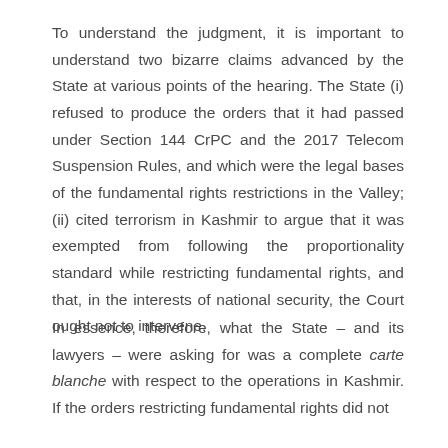To understand the judgment, it is important to understand two bizarre claims advanced by the State at various points of the hearing. The State (i) refused to produce the orders that it had passed under Section 144 CrPC and the 2017 Telecom Suspension Rules, and which were the legal bases of the fundamental rights restrictions in the Valley; (ii) cited terrorism in Kashmir to argue that it was exempted from following the proportionality standard while restricting fundamental rights, and that, in the interests of national security, the Court ought not to intervene.
In essence, therefore, what the State – and its lawyers – were asking for was a complete carte blanche with respect to the operations in Kashmir. If the orders restricting fundamental rights did not